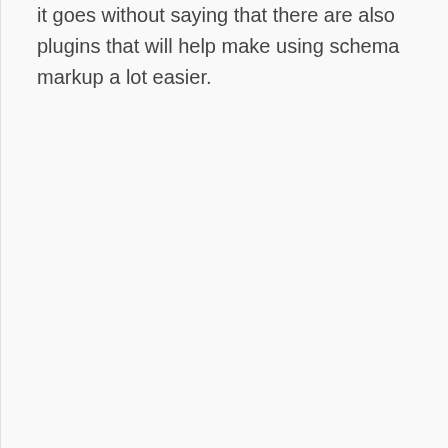it goes without saying that there are also plugins that will help make using schema markup a lot easier.